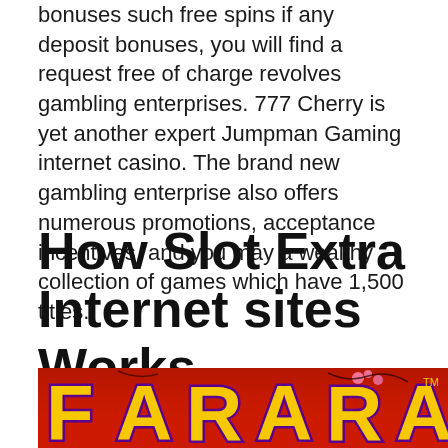bonuses such free spins if any deposit bonuses, you will find a request free of charge revolves gambling enterprises. 777 Cherry is yet another expert Jumpman Gaming internet casino. The brand new gambling enterprise also offers numerous promotions, acceptance incentives, and you may a wealthy collection of games which have 1,500 titles.
How Slot Extra Internet sites Works
[Figure (photo): A colorful casino slot game logo image with large golden yellow graffiti-style letters on a red background with purple outlines, resembling a slot machine game branding graphic.]